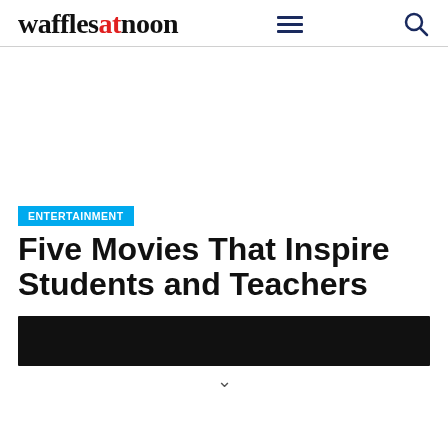wafflesatnoon
ENTERTAINMENT
Five Movies That Inspire Students and Teachers
[Figure (photo): Dark/black banner image at the bottom of the article header]